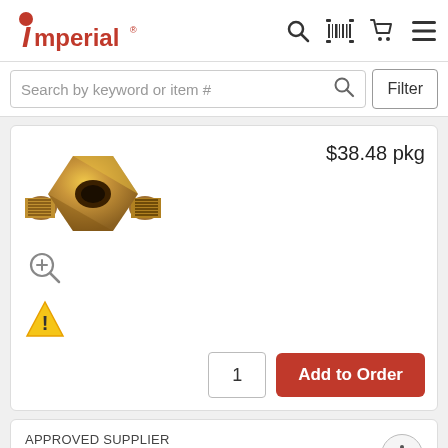[Figure (screenshot): Imperial logo with red stylized I and red dot on top]
Search by keyword or item #
[Figure (photo): Brass Y-fitting pipe connector, gold/brass colored metal]
$38.48 pkg
[Figure (other): Zoom in magnifier icon]
[Figure (other): Warning triangle icon with exclamation mark]
1
Add to Order
APPROVED SUPPLIER
3750X 6 Brass Fitting
#93862-7 | Pkg Qty:1